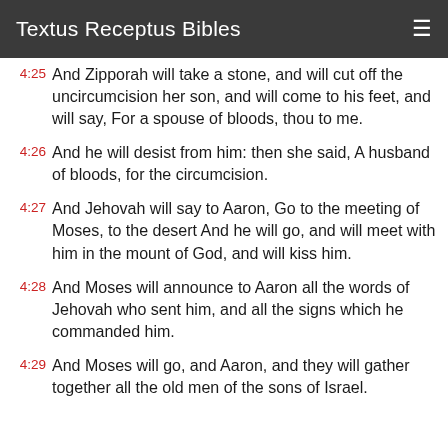Textus Receptus Bibles
4:25 And Zipporah will take a stone, and will cut off the uncircumcision her son, and will come to his feet, and will say, For a spouse of bloods, thou to me.
4:26 And he will desist from him: then she said, A husband of bloods, for the circumcision.
4:27 And Jehovah will say to Aaron, Go to the meeting of Moses, to the desert And he will go, and will meet with him in the mount of God, and will kiss him.
4:28 And Moses will announce to Aaron all the words of Jehovah who sent him, and all the signs which he commanded him.
4:29 And Moses will go, and Aaron, and they will gather together all the old men of the sons of Israel.